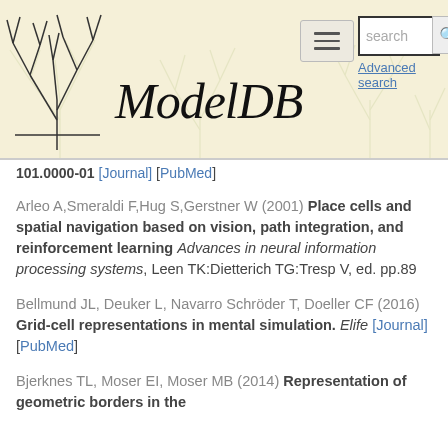ModelDB — search / Advanced search header
101.0000-01 [Journal] [PubMed]
Arleo A,Smeraldi F,Hug S,Gerstner W (2001) Place cells and spatial navigation based on vision, path integration, and reinforcement learning Advances in neural information processing systems, Leen TK:Dietterich TG:Tresp V, ed. pp.89
Bellmund JL, Deuker L, Navarro Schröder T, Doeller CF (2016) Grid-cell representations in mental simulation. Elife [Journal] [PubMed]
Bjerknes TL, Moser EI, Moser MB (2014) Representation of geometric borders in the